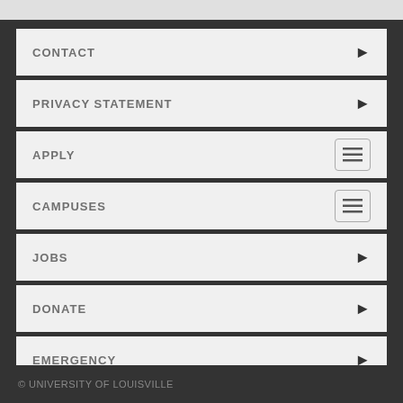CONTACT
PRIVACY STATEMENT
APPLY
CAMPUSES
JOBS
DONATE
EMERGENCY
LOGIN
© UNIVERSITY OF LOUISVILLE